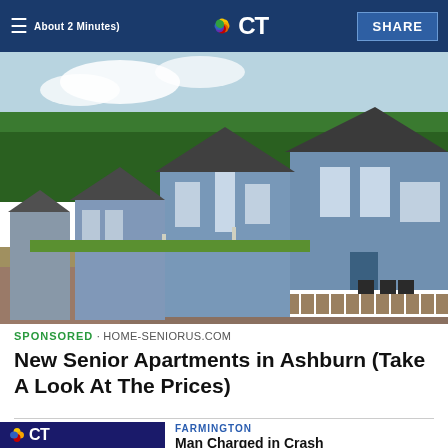NBC CT — About 2 Minutes) SHARE
[Figure (photo): Row of small blue and white bungalow-style houses with landscaping along a path, trees in background]
SPONSORED · HOME-SENIORUS.COM
New Senior Apartments in Ashburn (Take A Look At The Prices)
[Figure (screenshot): Small NBC CT thumbnail image with purple/blue background]
FARMINGTON
Man Charged in Crash